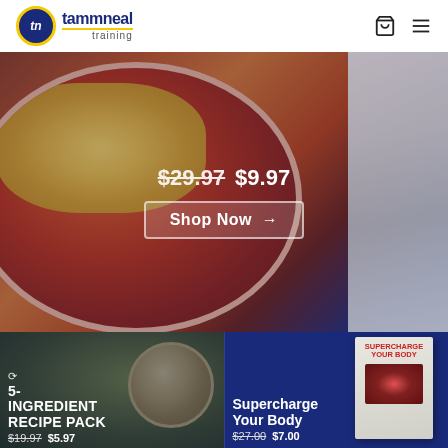tammneal training
[Figure (photo): Hero banner showing a baked Italian pasta dish (lasagna) in a round ceramic bowl on a marble surface with basil leaves, overlaid with pricing text and a Shop Now button. Background shows navy blue.]
$29.97  $9.97
Shop Now →
[Figure (photo): Product card: 5-Ingredient Recipe Pack showing a bowl of pasta with vegetables. Icon of recycle/cycling symbol. Price: $19.97 $5.97]
5-INGREDIENT RECIPE PACK $19.97 $5.97
[Figure (photo): Product card: Supercharge Your Body book cover shown on navy blue background. Price: $27.00 $7.00]
Supercharge Your Body $27.00 $7.00